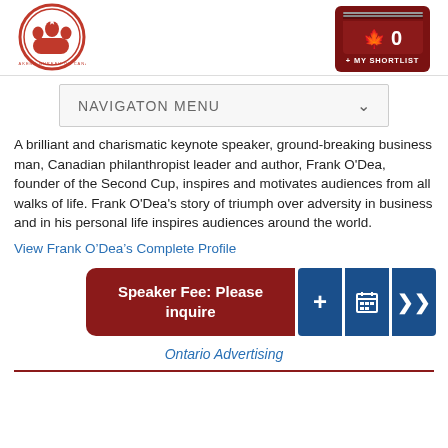[Figure (logo): Speakers Bureau of Canada circular logo with people silhouettes and maple leaf]
[Figure (infographic): My Shortlist button showing 0 items, dark red background with maple leaf icon]
[Figure (infographic): Navigation menu dropdown bar with text NAVIGATON MENU and chevron arrow]
A brilliant and charismatic keynote speaker, ground-breaking business man, Canadian philanthropist leader and author, Frank O'Dea, founder of the Second Cup, inspires and motivates audiences from all walks of life. Frank O'Dea's story of triumph over adversity in business and in his personal life inspires audiences around the world.
View Frank O'Dea's Complete Profile
[Figure (infographic): Speaker Fee: Please inquire button in dark red, with three blue action buttons (plus, calendar grid, arrow right)]
Ontario Advertising